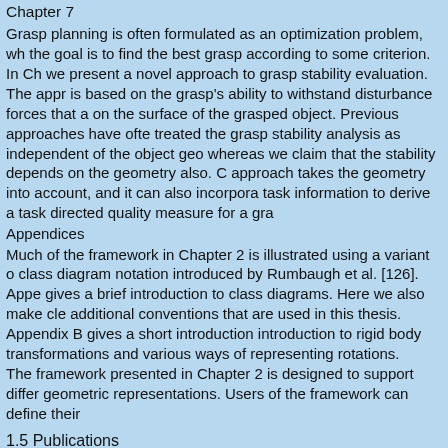Chapter 7
Grasp planning is often formulated as an optimization problem, wh the goal is to find the best grasp according to some criterion. In Ch we present a novel approach to grasp stability evaluation. The appr is based on the grasp's ability to withstand disturbance forces that a on the surface of the grasped object. Previous approaches have ofte treated the grasp stability analysis as independent of the object geo whereas we claim that the stability depends on the geometry also. C approach takes the geometry into account, and it can also incorpora task information to derive a task directed quality measure for a gra
Appendices
Much of the framework in Chapter 2 is illustrated using a variant o class diagram notation introduced by Rumbaugh et al. [126]. Appe gives a brief introduction to class diagrams. Here we also make cle additional conventions that are used in this thesis.
Appendix B gives a short introduction introduction to rigid body transformations and various ways of representing rotations.
The framework presented in Chapter 2 is designed to support differ geometric representations. Users of the framework can define their
1.5 Publications
11
geometric types, or they can use one of the three types that the fra work provides: triangle sets, convex polyhedra, and hierarchies of polyhedra. These three geometric types are covered in Appendix C.